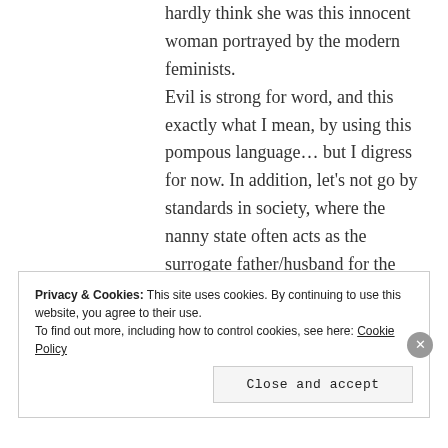hardly think she was this innocent woman portrayed by the modern feminists.
Evil is strong for word, and this exactly what I mean, by using this pompous language... but I digress for now. In addition, let's not go by standards in society, where the nanny state often acts as the surrogate father/husband for the woman (i.e. Ray Rice sandal), but again I digress.
As far religion being manipulated, yes, it is and it must certainly be spoken
Privacy & Cookies: This site uses cookies. By continuing to use this website, you agree to their use.
To find out more, including how to control cookies, see here: Cookie Policy
Close and accept